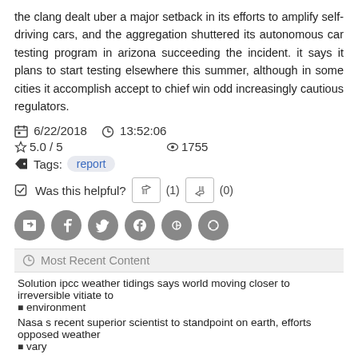the clang dealt uber a major setback in its efforts to amplify self-driving cars, and the aggregation shuttered its autonomous car testing program in arizona succeeding the incident. it says it plans to start testing elsewhere this summer, although in some cities it accomplish accept to chief win odd increasingly cautious regulators.
6/22/2018   13:52:06
5.0 / 5   1755
Tags: report
Was this helpful? (1) (0)
Most Recent Content
Solution ipcc weather tidings says world moving closer to irreversible vitiate to environment
Nasa s recent superior scientist to standpoint on earth, efforts opposed weather vary
Nasa s novel paramount scientist to centre on earth, efforts counter air alter
Weather associate detects meteor explosion close pittsburgh on chief day of 2022